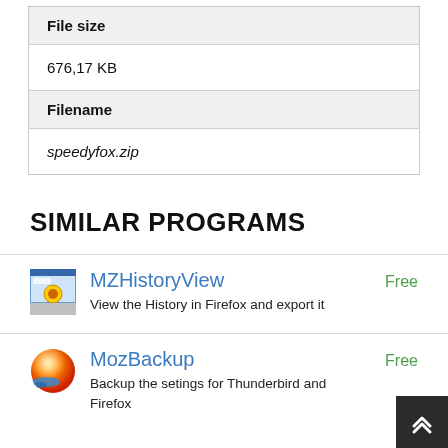| File size |
| --- |
| 676,17 KB |
| Filename |
| --- |
| speedyfox.zip |
SIMILAR PROGRAMS
MZHistoryView — Free
View the History in Firefox and export it
MozBackup — Free
Backup the setings for Thunderbird and Firefox